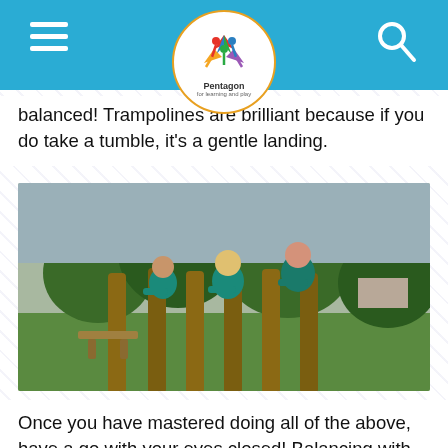Pentagon - for learning and play
balanced! Trampolines are brilliant because if you do take a tumble, it's a gentle landing.
[Figure (photo): Three children in teal/green school uniforms playing on wooden log balance posts in a school playground, with trees and grass in the background.]
Once you have mastered doing all of the above, have a go with your eyes closed! Balancing with